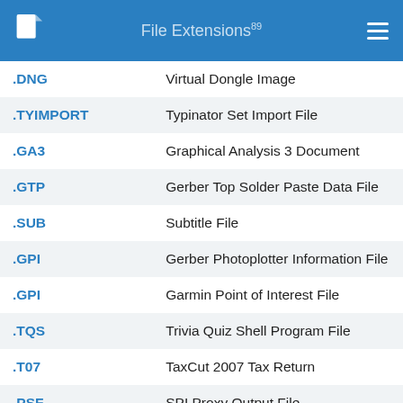File Extensions99
| Extension | Description |
| --- | --- |
| .DNG | Virtual Dongle Image |
| .TYIMPORT | Typinator Set Import File |
| .GA3 | Graphical Analysis 3 Document |
| .GTP | Gerber Top Solder Paste Data File |
| .SUB | Subtitle File |
| .GPI | Gerber Photoplotter Information File |
| .GPI | Garmin Point of Interest File |
| .TQS | Trivia Quiz Shell Program File |
| .T07 | TaxCut 2007 Tax Return |
| .PSF | SPI Proxy Output File |
| .GTP | Guitar Pro File |